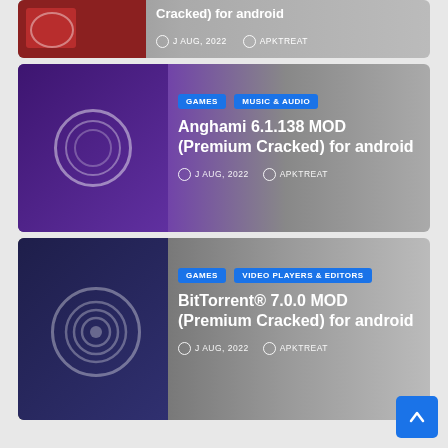[Figure (screenshot): Partial top card showing a MOD app thumbnail with red background, date J AUG, 2022 and author APKTREAT]
J AUG, 2022   APKTREAT
[Figure (screenshot): Anghami 6.1.138 MOD (Premium Cracked) for android app card with purple gradient background and circular play icon]
GAMES   MUSIC & AUDIO
Anghami 6.1.138 MOD (Premium Cracked) for android
J AUG, 2022   APKTREAT
[Figure (screenshot): BitTorrent 7.0.0 MOD (Premium Cracked) for android app card with dark gray gradient background and circular BitTorrent logo]
GAMES   VIDEO PLAYERS & EDITORS
BitTorrent® 7.0.0 MOD (Premium Cracked) for android
J AUG, 2022   APKTREAT